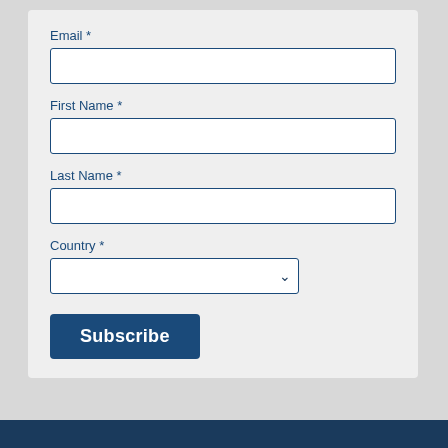Email *
First Name *
Last Name *
Country *
Subscribe